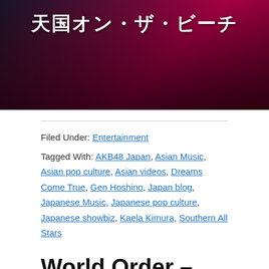[Figure (photo): Dark banner image with Japanese text '天国オン・ザ・ビーチ' (Heaven on the Beach) in white, over a dark red/pink and black background with a silhouette figure.]
Filed Under: Entertainment
Tagged With: AKB48 Japan, Asian Music, Asian pop culture, Asian videos, Dreams Come True, Gen Hoshino, Japan blog, Japanese Music, Japanese pop culture, Japanese showbiz, Kaela Kimura, Southern All Stars
World Order – Have A Nice Day (in Akiba)
April 7, 2014 by Yein Jee